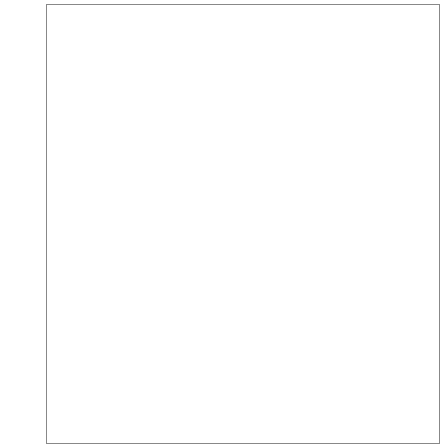we think there is great importance in developing distributed, collaborative research agendas that invest in analysis by way of practice to produce concepts in the digital era.

One approach to addressing